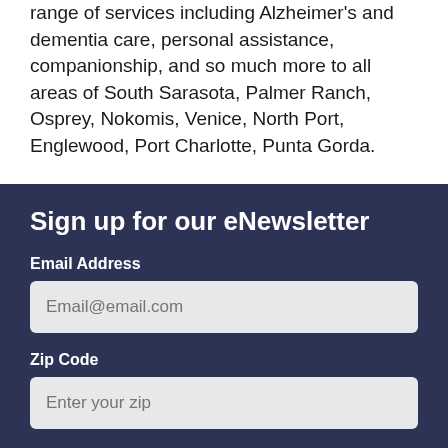range of services including Alzheimer's and dementia care, personal assistance, companionship, and so much more to all areas of South Sarasota, Palmer Ranch, Osprey, Nokomis, Venice, North Port, Englewood, Port Charlotte, Punta Gorda.
Sign up for our eNewsletter
Email Address
Email@email.com
Zip Code
Enter your zip